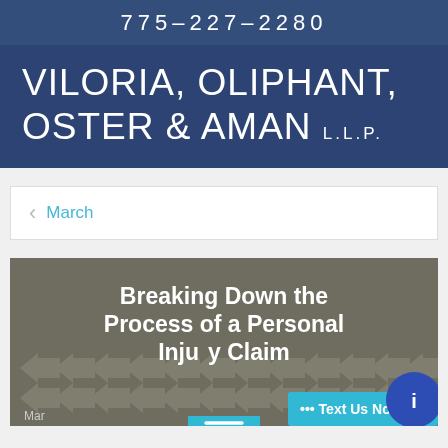775-227-2280
VILORIA, OLIPHANT, OSTER & AMAN L.L.P.
March
[Figure (screenshot): Blog post thumbnail image with dark arrow pattern background overlay. Text reads: Breaking Down the Process of a Personal Injury Claim. Partial date visible at bottom: Mar... 020. Chat and Text Us Now buttons overlay the bottom.]